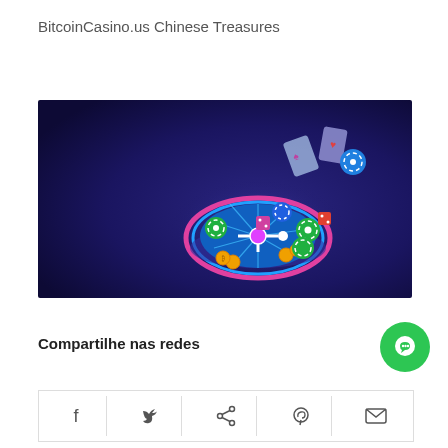BitcoinCasino.us Chinese Treasures
[Figure (illustration): Casino roulette wheel with playing cards, poker chips (green and blue), dice, and gold coins floating around it on a dark blue/purple gradient background. Colorful neon-lit roulette wheel in center.]
Compartilhe nas redes